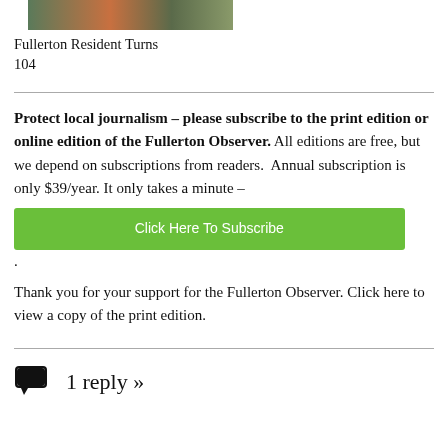[Figure (photo): Top portion of a photo showing people outdoors]
Fullerton Resident Turns 104
Protect local journalism – please subscribe to the print edition or online edition of the Fullerton Observer. All editions are free, but we depend on subscriptions from readers.  Annual subscription is only $39/year. It only takes a minute –
[Figure (other): Green button: Click Here To Subscribe]
Thank you for your support for the Fullerton Observer. Click here to view a copy of the print edition.
1 reply »